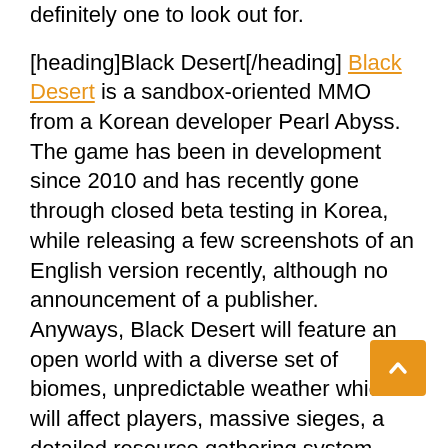definitely one to look out for.
[heading]Black Desert[/heading] Black Desert is a sandbox-oriented MMO from a Korean developer Pearl Abyss. The game has been in development since 2010 and has recently gone through closed beta testing in Korea, while releasing a few screenshots of an English version recently, although no announcement of a publisher. Anyways, Black Desert will feature an open world with a diverse set of biomes, unpredictable weather which will affect players, massive sieges, a detailed resource gathering system, non-instanced player housing and an action oriented combated system.
[heading]ArcheAge[/heading]So ArcheAge is